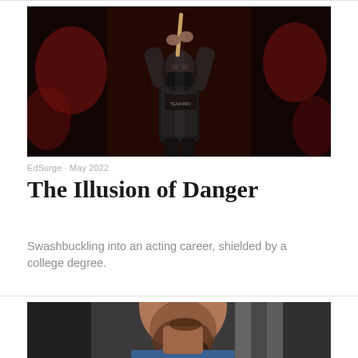[Figure (photo): A performer in a black outfit and mask holds a sword or stick raised above their head against a dark dramatic background with red decorative elements.]
EdSurge • May 2022
The Illusion of Danger
Swashbuckling into an acting career, shielded by a college degree.
[Figure (photo): Partial photo of a man's face and beard, cropped at the bottom of the page.]